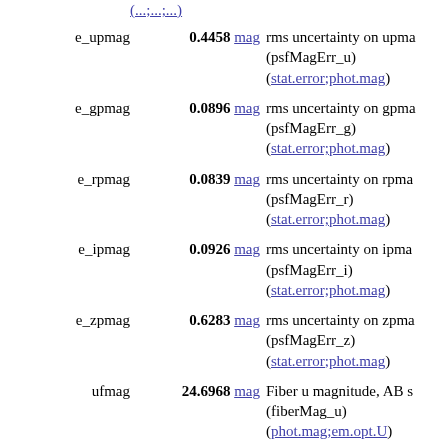e_upmag 0.4458 mag rms uncertainty on upmag (psfMagErr_u) (stat.error;phot.mag)
e_gpmag 0.0896 mag rms uncertainty on gpmag (psfMagErr_g) (stat.error;phot.mag)
e_rpmag 0.0839 mag rms uncertainty on rpmag (psfMagErr_r) (stat.error;phot.mag)
e_ipmag 0.0926 mag rms uncertainty on ipmag (psfMagErr_i) (stat.error;phot.mag)
e_zpmag 0.6283 mag rms uncertainty on zpmag (psfMagErr_z) (stat.error;phot.mag)
ufmag 24.6968 mag Fiber u magnitude, AB s (fiberMag_u) (phot.mag;em.opt.U)
gfmag 23.8596 mag Fiber g magnitude, AB s (fiberMag_g) (phot.mag;em.opt.B)
rfmag 23.3215 mag Fiber r magnitude, AB s (fiberMag_r)